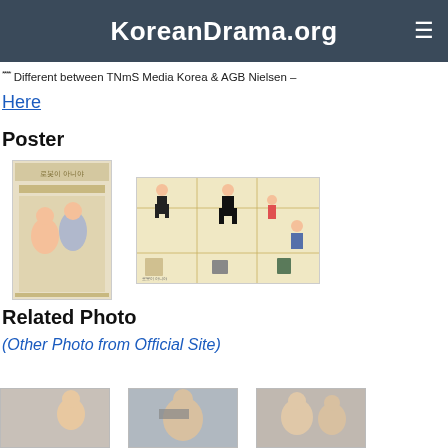KoreanDrama.org
**** Different between TNmS Media Korea & AGB Nielsen – Here
Poster
[Figure (photo): Korean drama poster showing two characters (woman and man) with illustrated design elements on light background]
[Figure (photo): Korean drama poster showing four characters in action poses on a model kit style layout with yellow/cream background]
Related Photo
(Other Photo from Official Site)
[Figure (photo): Photo thumbnail 1 - partially visible]
[Figure (photo): Photo thumbnail 2 - partially visible]
[Figure (photo): Photo thumbnail 3 - partially visible]